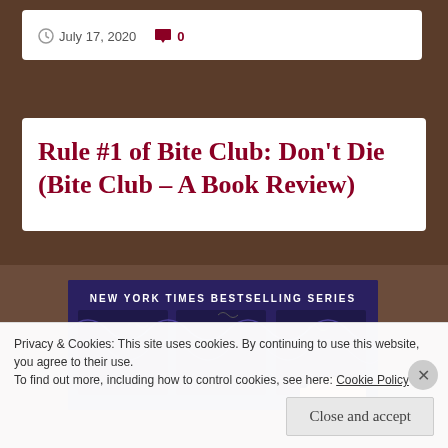July 17, 2020   0
Rule #1 of Bite Club: Don’t Die (Bite Club – A Book Review)
[Figure (photo): Book cover showing 'NEW YORK TIMES BESTSELLING SERIES' text over a dark blue/purple background with decorative vine and bat motifs, and a person's face visible at the bottom right.]
Privacy & Cookies: This site uses cookies. By continuing to use this website, you agree to their use.
To find out more, including how to control cookies, see here: Cookie Policy
Close and accept